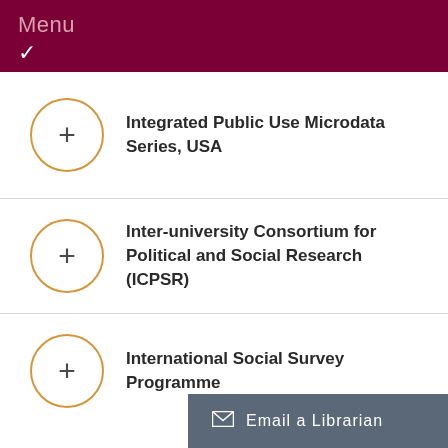Menu
Integrated Public Use Microdata Series, USA
Inter-university Consortium for Political and Social Research (ICPSR)
International Social Survey Programme
Email a Librarian